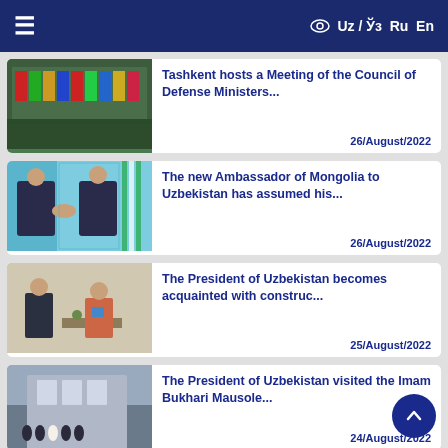☰  👁 Uz / Ўз  Ru  En
Tashkent hosts a Meeting of the Council of Defense Ministers...  26/August/2022
The new Ambassador of Mongolia to Uzbekistan has assumed his...  26/August/2022
The President of Uzbekistan becomes acquainted with construc...  25/August/2022
The President of Uzbekistan visited the Imam Bukhari Mausole...  24/August/2022